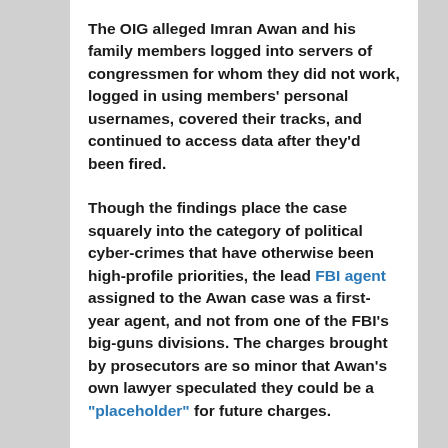The OIG alleged Imran Awan and his family members logged into servers of congressmen for whom they did not work, logged in using members' personal usernames, covered their tracks, and continued to access data after they'd been fired.
Though the findings place the case squarely into the category of political cyber-crimes that have otherwise been high-profile priorities, the lead FBI agent assigned to the Awan case was a first-year agent, and not from one of the FBI's big-guns divisions. The charges brought by prosecutors are so minor that Awan's own lawyer speculated they could be a "placeholder" for future charges.
Server logs of government computers backed up the OIG's findings. Yet six months after the initial charges, no additional counts have been